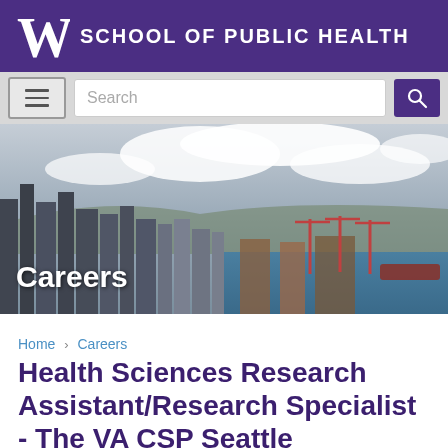[Figure (logo): University of Washington School of Public Health purple header with W logo and school name]
[Figure (screenshot): Navigation bar with hamburger menu, search input field, and purple search button]
[Figure (photo): Aerial photo of Seattle cityscape and waterfront with clouds, with 'Careers' text overlay]
Home > Careers
Health Sciences Research Assistant/Research Specialist - The VA CSP Seattle Epidemiologic Research and